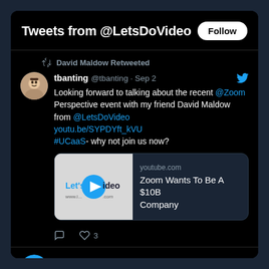Tweets from @LetsDoVideo
David Maldow Retweeted
tbanting @tbanting · Sep 2
Looking forward to talking about the recent @Zoom Perspective event with my friend David Maldow from @LetsDoVideo youtu.be/SYPDYft_kVU #UCaaS- why not join us now?
[Figure (screenshot): YouTube link card showing LetsDoVideo logo with play button and title 'Zoom Wants To Be A $10B Company' from youtube.com]
♡ 3
David Maldow @LetsDoVideo · Sep 2